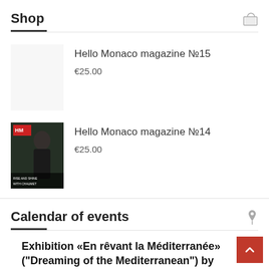Shop
Hello Monaco magazine №15
€25.00
[Figure (photo): Cover of Hello Monaco magazine №14 showing a woman in a dark outfit]
Hello Monaco magazine №14
€25.00
Calendar of events
Exhibition «En rêvant la Méditerranée» ("Dreaming of the Mediterranean") by Antoine Pierini
May 8 @ 10:00 am - September 18 @ 6:00 pm